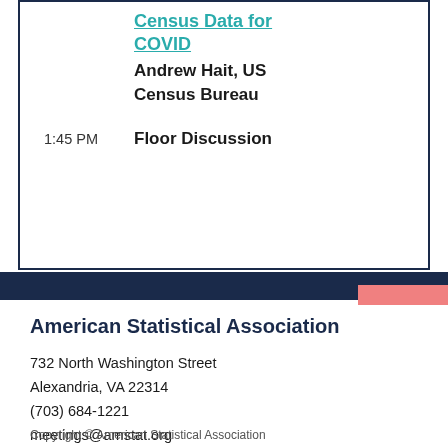Census Data for COVID — Andrew Hait, US Census Bureau (link)
1:45 PM   Floor Discussion
American Statistical Association
732 North Washington Street
Alexandria, VA 22314
(703) 684-1221
meetings@amstat.org
Copyright © American Statistical Association